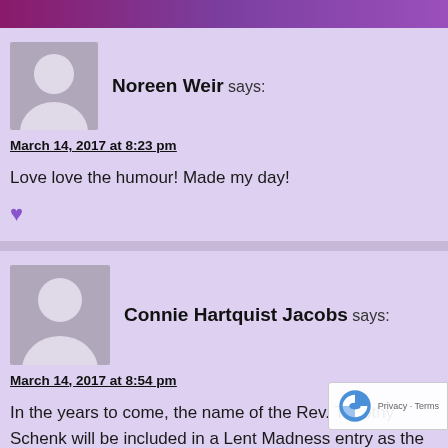Noreen Weir says:
March 14, 2017 at 8:23 pm
Love love the humour! Made my day!
Connie Hartquist Jacobs says:
March 14, 2017 at 8:54 pm
In the years to come, the name of the Rev. Timothy Schenk will be included in a Lent Madness entry as the Saint of Wit. Thanks, Tim. This was great, as is all of Lent Madnes... Currently uncertain what Scott will be saint of. Sugges...